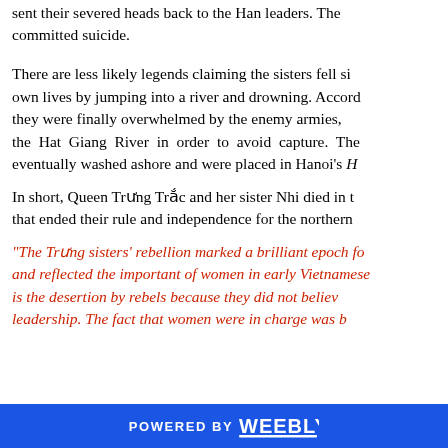sent their severed heads back to the Han leaders. The committed suicide.
There are less likely legends claiming the sisters fell side own lives by jumping into a river and drowning. Accord they were finally overwhelmed by the enemy armies, the Hat Giang River in order to avoid capture. The eventually washed ashore and were placed in Hanoi's H
In short, Queen Trưng Trắc and her sister Nhi died in that ended their rule and independence for the northern
“The Trưng sisters’ rebellion marked a brilliant epoch and reflected the important of women in early Vietnamese is the desertion by rebels because they did not believe leadership. The fact that women were in charge was b
POWERED BY weebly